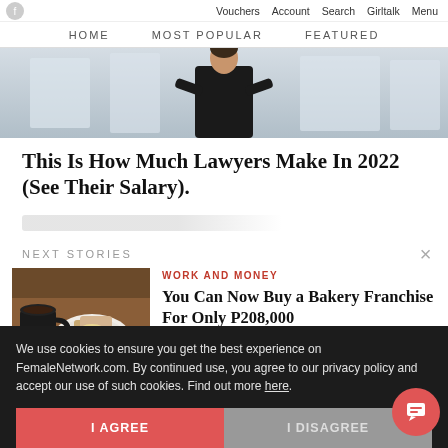Vouchers  Account  Search  Girltalk  Menu
HOME   MOST POPULAR   FEATURED
[Figure (photo): Hero image of a person in a black suit/blazer with arms crossed, blurred office background]
This Is How Much Lawyers Make In 2022 (See Their Salary).
NEXT STORIES
[Figure (photo): Thumbnail image of a breakfast scene with coffee, bread, and butter on a wooden table]
WORK AND MONEY
You Can Now Buy a Bakery Franchise For Only P208,000
We use cookies to ensure you get the best experience on FemaleNetwork.com. By continued use, you agree to our privacy policy and accept our use of such cookies. Find out more here.
I AGREE
I DISAGREE